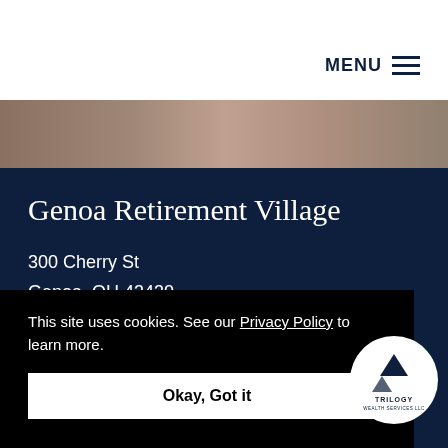MENU
[Figure (photo): Partial photo strip of people, dark brownish tones, cropped]
Genoa Retirement Village
300 Cherry St
Genoa, OH 43430
419-972-2807
This site uses cookies. See our Privacy Policy to learn more.
Okay, Got it
[Figure (logo): Trilogy Wealth Services LLC circular logo with mountain icon]